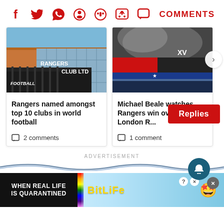[Figure (infographic): Social media share icons: Facebook, Twitter, WhatsApp, Reddit, Pinterest, Comments speech bubble, and COMMENTS label in red]
[Figure (photo): Rangers Football Club Ltd entrance sign and stadium exterior]
Rangers named amongst top 10 clubs in world football
2 comments
[Figure (photo): Michael Beale watches Rangers win over PSV, London R... crowd with smoke and UEFA Champions League banner]
Michael Beale watches Rangers win over PSV, London R...
1 comment
Replies
ADVERTISEMENT
[Figure (infographic): Wave/swoosh graphic divider in blue]
[Figure (illustration): BitLife advertisement banner: WHEN REAL LIFE IS QUARANTINED - BitLife colorful rainbow logo with emoji characters]